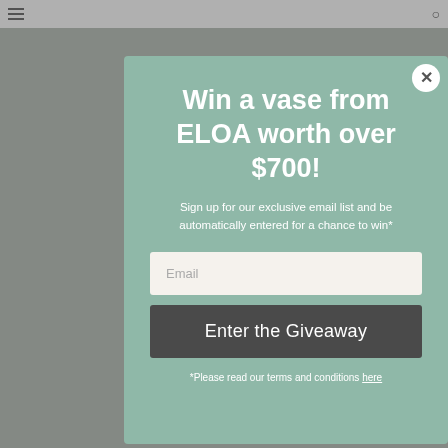[Figure (screenshot): Website screenshot showing a popup modal over a blurred page background. The modal has a sage/mint green background with a white close button (X) in the top right corner.]
Win a vase from ELOA worth over $700!
Sign up for our exclusive email list and be automatically entered for a chance to win*
Email
Enter the Giveaway
*Please read our terms and conditions here